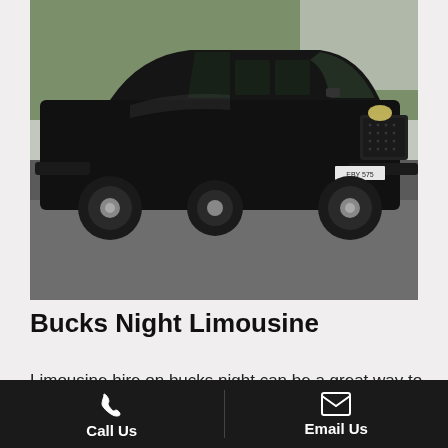[Figure (photo): A black stretch limousine (Chrysler 300) parked on a road with trees and greenery in the background. License plate reads EBY 575.]
Bucks Night Limousine
Limousine hire on bucks night can be a great way to celebrate a bachelor party. With the limousine you can visit various bars and pubs in your area and get exclusive arrival to the club or venue of
Call Us   Email Us